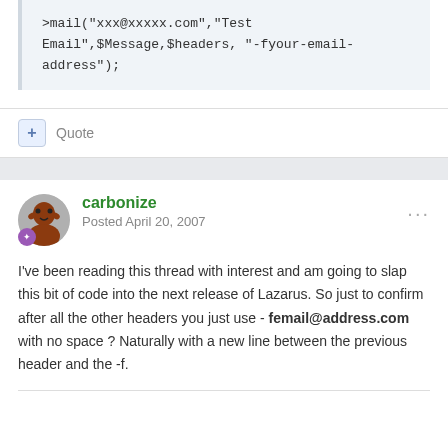>mail("xxx@xxxxx.com","Test Email",$Message,$headers, "-fyour-email-address");
+ Quote
carbonize
Posted April 20, 2007
I've been reading this thread with interest and am going to slap this bit of code into the next release of Lazarus. So just to confirm after all the other headers you just use -femail@address.com with no space ? Naturally with a new line between the previous header and the -f.